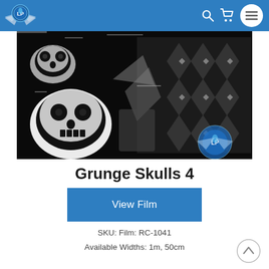Liquid Print — navigation bar with logo, search, cart, and menu icons
[Figure (photo): Black and white grunge skulls pattern hydrographic film product photo with watermark logo]
Grunge Skulls 4
View Film
SKU: Film: RC-1041
Available Widths: 1m, 50cm